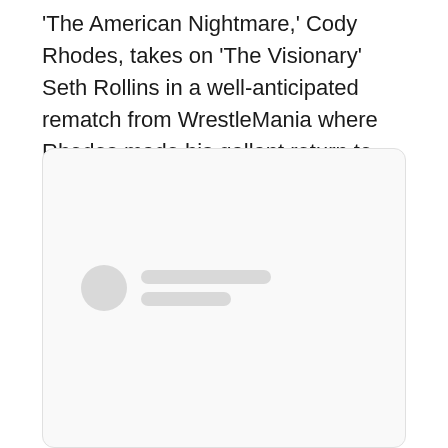'The American Nightmare,' Cody Rhodes, takes on 'The Visionary' Seth Rollins in a well-anticipated rematch from WrestleMania where Rhodes made his gallant return to the WWE.
[Figure (other): A rounded card/embed placeholder with a loading skeleton showing a circular avatar and two rectangular placeholder lines, indicating a social media embed or content card.]